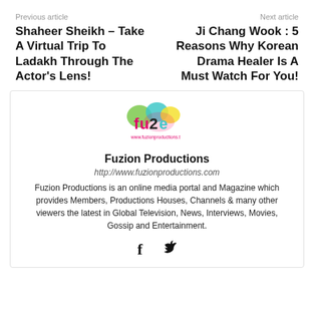Previous article   Next article
Shaheer Sheikh – Take A Virtual Trip To Ladakh Through The Actor's Lens!
Ji Chang Wook : 5 Reasons Why Korean Drama Healer Is A Must Watch For You!
[Figure (logo): Fuzion Productions colorful logo with speech bubbles and website URL www.fuzionproductions.t]
Fuzion Productions
http://www.fuzionproductions.com
Fuzion Productions is an online media portal and Magazine which provides Members, Productions Houses, Channels & many other viewers the latest in Global Television, News, Interviews, Movies, Gossip and Entertainment.
[Figure (other): Facebook and Twitter social media icons]